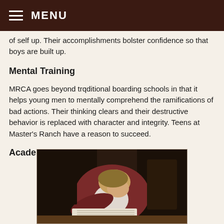MENU
...of self up. Their accomplishments bolster confidence so that boys are built up.
Mental Training
MRCA goes beyond trqditional boarding schools in that it helps young men to mentally comprehend the ramifications of bad actions. Their thinking clears and their destructive behavior is replaced with character and integrity. Teens at Master's Ranch have a reason to succeed.
Academic Training
[Figure (photo): A young man in a dark red/maroon hoodie leaning over and writing or reading, photographed from above at an angle in what appears to be a workshop or classroom setting.]